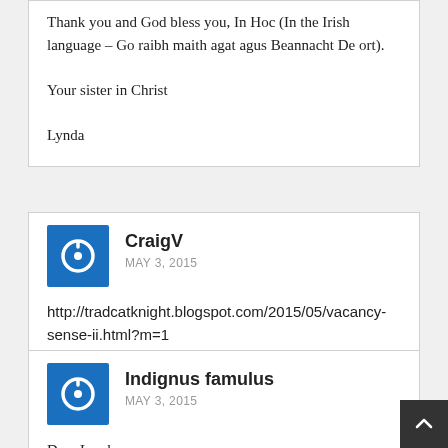Thank you and God bless you, In Hoc (In the Irish language – Go raibh maith agat agus Beannacht De ort).
Your sister in Christ
Lynda
CraigV
MAY 3, 2015
http://tradcatknight.blogspot.com/2015/05/vacancy-sense-ii.html?m=1
Indignus famulus
MAY 3, 2015
Dear Lynda,
At the same time, our Supreme Court here in the U.S. appears to be about to strike another blow against the